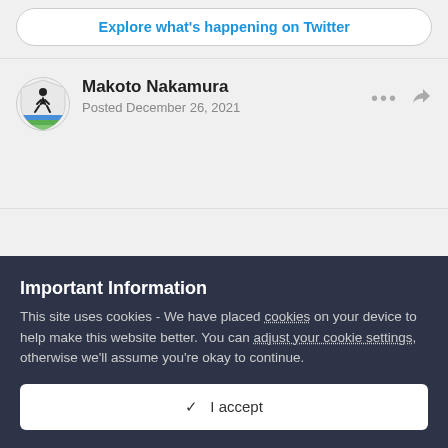[Figure (other): Button with text 'Explore what's happening on Twitter' styled as a rounded pill button in blue text on white background]
[Figure (other): Shield-shaped avatar logo with a running figure and blue/green horizontal stripes at the bottom]
Makoto Nakamura
Posted December 26, 2021
Important Information
This site uses cookies - We have placed cookies on your device to help make this website better. You can adjust your cookie settings, otherwise we'll assume you're okay to continue.
✓  I accept